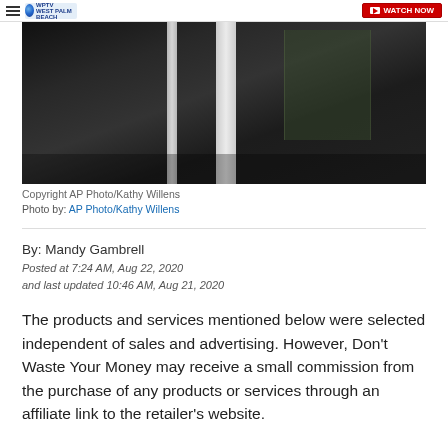WPTV West Palm Beach — Watch Now
[Figure (photo): Dark reflective glass building facade with white structural columns and a greenish tinted glass panel on the right side]
Copyright AP Photo/Kathy Willens
Photo by: AP Photo/Kathy Willens
By: Mandy Gambrell
Posted at 7:24 AM, Aug 22, 2020
and last updated 10:46 AM, Aug 21, 2020
The products and services mentioned below were selected independent of sales and advertising. However, Don't Waste Your Money may receive a small commission from the purchase of any products or services through an affiliate link to the retailer's website.